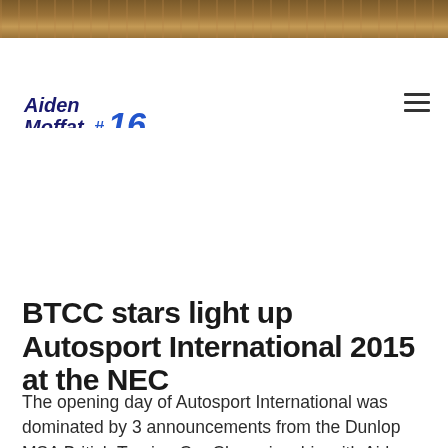[Figure (photo): Top banner photo showing an indoor venue ceiling with wooden/metal structures, warm brown tones]
Aiden Moffat #16
BTCC stars light up Autosport International 2015 at the NEC
The opening day of Autosport International was dominated by 3 announcements from the Dunlop MSA British Touring Car Championship with Aiden Moffat, Andy Priaulx and Andrew Jordan unveiling new cars for